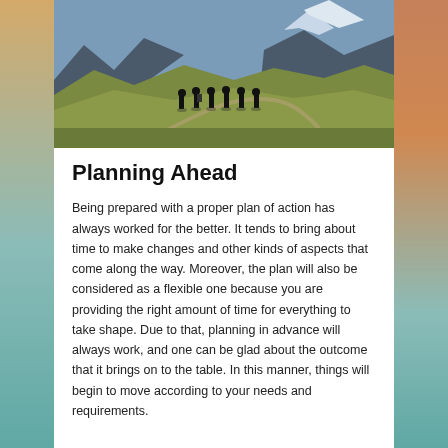[Figure (photo): A group of six people standing as silhouettes on a mountain ridge path, with green and brown rolling hills and rocky mountains in the background under a blue sky.]
Planning Ahead
Being prepared with a proper plan of action has always worked for the better. It tends to bring about time to make changes and other kinds of aspects that come along the way. Moreover, the plan will also be considered as a flexible one because you are providing the right amount of time for everything to take shape. Due to that, planning in advance will always work, and one can be glad about the outcome that it brings on to the table. In this manner, things will begin to move according to your needs and requirements.